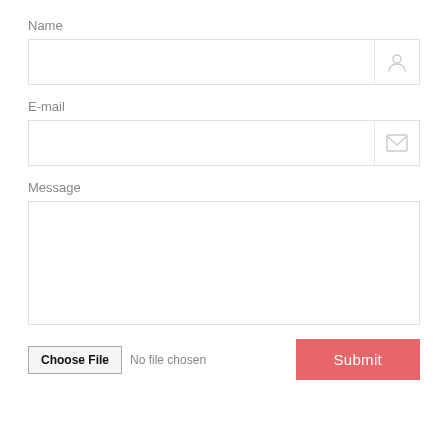Name
[Figure (screenshot): Text input field with a person/user icon on the right side]
E-mail
[Figure (screenshot): Text input field with an envelope/mail icon on the right side]
Message
[Figure (screenshot): Large textarea input field for message]
Choose File  No file chosen
Submit